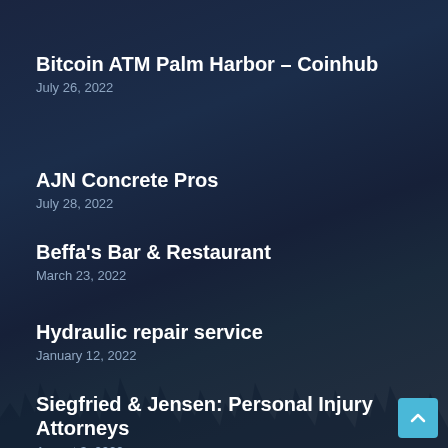Bitcoin ATM Palm Harbor – Coinhub
July 26, 2022
AJN Concrete Pros
July 28, 2022
Beffa's Bar & Restaurant
March 23, 2022
Hydraulic repair service
January 12, 2022
Siegfried & Jensen: Personal Injury Attorneys
August 3, 2022